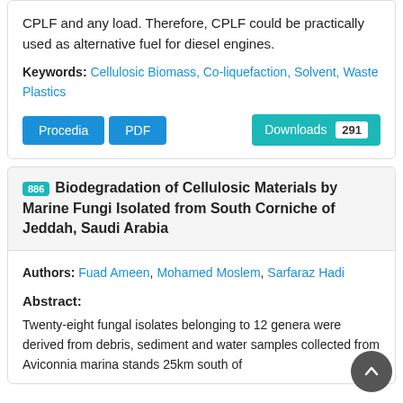CPLF and any load. Therefore, CPLF could be practically used as alternative fuel for diesel engines.
Keywords: Cellulosic Biomass, Co-liquefaction, Solvent, Waste Plastics
Procedia   PDF   Downloads 291
886 Biodegradation of Cellulosic Materials by Marine Fungi Isolated from South Corniche of Jeddah, Saudi Arabia
Authors: Fuad Ameen, Mohamed Moslem, Sarfaraz Hadi
Abstract:
Twenty-eight fungal isolates belonging to 12 genera were derived from debris, sediment and water samples collected from Aviconnia marina stands 25km south of